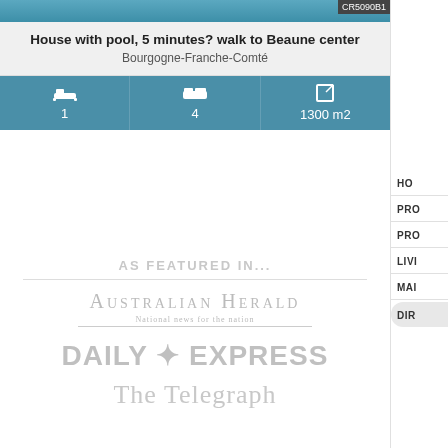[Figure (photo): Top portion of a swimming pool or water feature, blue/teal colored, partially cropped]
House with pool, 5 minutes? walk to Beaune center
Bourgogne-Franche-Comté
[Figure (infographic): Stats bar showing: 1 bathroom, 4 bedrooms, 1300 m2 area — icons with values on teal background]
AS FEATURED IN...
[Figure (logo): Australian Herald — National news for the nation — logo in light grey]
[Figure (logo): DAILY EXPRESS logo in bold grey]
[Figure (logo): The Telegraph logo in grey serif font]
HO
PRO
PRO
LIVI
MAI
DIR